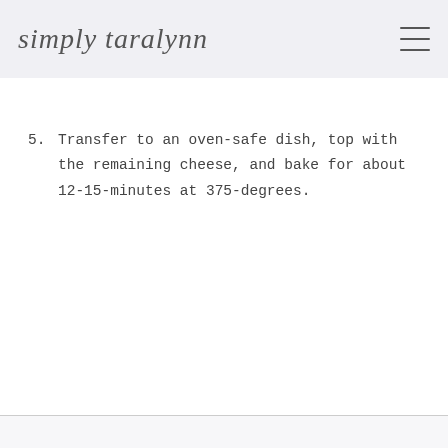simply taralynn
5. Transfer to an oven-safe dish, top with the remaining cheese, and bake for about 12-15-minutes at 375-degrees.